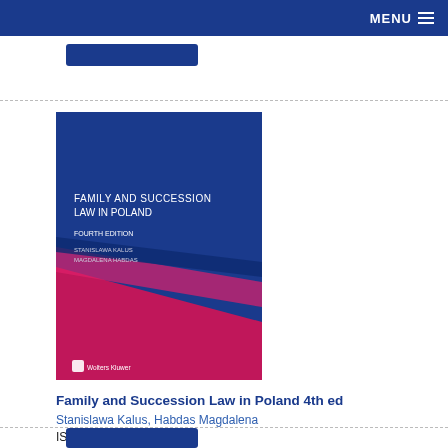MENU
[Figure (illustration): Book cover of 'Family and Succession Law in Poland 4th Edition' by Stanislawa Kalus and Magdalena Habdas, published by Wolters Kluwer. Blue and pink/magenta design.]
Family and Succession Law in Poland 4th ed
Stanislawa Kalus, Habdas Magdalena
ISBN 9789403538518
Published November 2021
Kluwer Law International
£75.00
Buy